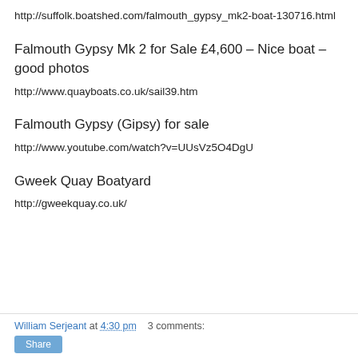http://suffolk.boatshed.com/falmouth_gypsy_mk2-boat-130716.html
Falmouth Gypsy Mk 2 for Sale £4,600 – Nice boat – good photos
http://www.quayboats.co.uk/sail39.htm
Falmouth Gypsy (Gipsy) for sale
http://www.youtube.com/watch?v=UUsVz5O4DgU
Gweek Quay Boatyard
http://gweekquay.co.uk/
William Serjeant at 4:30 pm   3 comments: